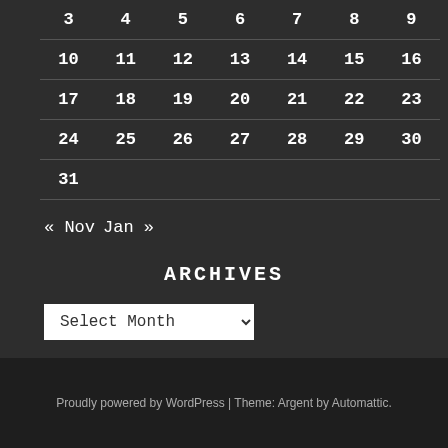| 3 | 4 | 5 | 6 | 7 | 8 | 9 |
| 10 | 11 | 12 | 13 | 14 | 15 | 16 |
| 17 | 18 | 19 | 20 | 21 | 22 | 23 |
| 24 | 25 | 26 | 27 | 28 | 29 | 30 |
| 31 |  |  |  |  |  |  |
« Nov   Jan »
ARCHIVES
Select Month
Proudly powered by WordPress | Theme: Argent by Automattic.